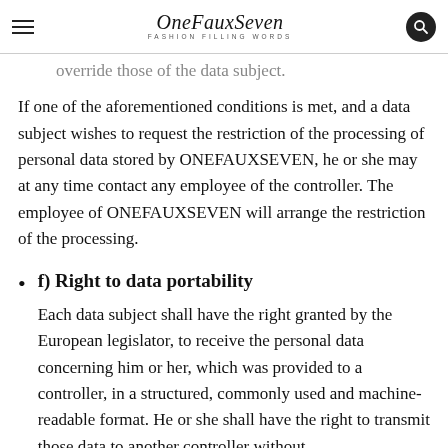OneFauxSeven — FASHION FILLING WORDS
override those of the data subject.
If one of the aforementioned conditions is met, and a data subject wishes to request the restriction of the processing of personal data stored by ONEFAUXSEVEN, he or she may at any time contact any employee of the controller. The employee of ONEFAUXSEVEN will arrange the restriction of the processing.
f) Right to data portability
Each data subject shall have the right granted by the European legislator, to receive the personal data concerning him or her, which was provided to a controller, in a structured, commonly used and machine-readable format. He or she shall have the right to transmit those data to another controller without